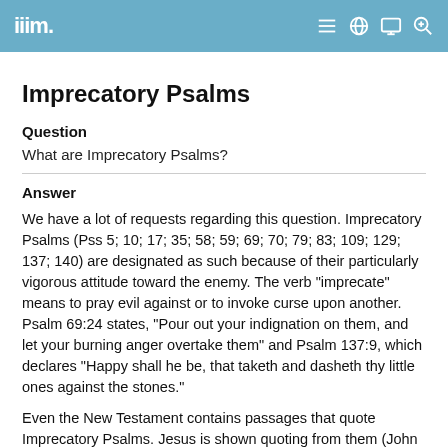IIIM.
Imprecatory Psalms
Question
What are Imprecatory Psalms?
Answer
We have a lot of requests regarding this question. Imprecatory Psalms (Pss 5; 10; 17; 35; 58; 59; 69; 70; 79; 83; 109; 129; 137; 140) are designated as such because of their particularly vigorous attitude toward the enemy. The verb "imprecate" means to pray evil against or to invoke curse upon another. Psalm 69:24 states, "Pour out your indignation on them, and let your burning anger overtake them" and Psalm 137:9, which declares "Happy shall he be, that taketh and dasheth thy little ones against the stones."
Even the New Testament contains passages that quote Imprecatory Psalms. Jesus is shown quoting from them (John 2:17; 15:25) while